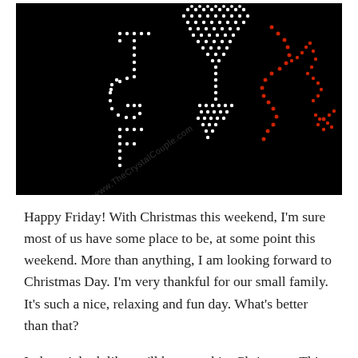[Figure (photo): Black background rhinestone/crystal art design showing 'TGIF' letters made of white dots on the left, a martini glass made of white dots in the center-right, and a red decorative floral/branch element on the right side. A watermark 'www.TheCrystalCouple.com' is visible diagonally.]
Happy Friday! With Christmas this weekend, I'm sure most of us have some place to be, at some point this weekend. More than anything, I am looking forward to Christmas Day. I'm very thankful for our small family. It's such a nice, relaxing and fun day. What's better than that?
It doesn't look like we'll have a white Christmas. This might be the 1st (or the 2nd) Christmas season with...